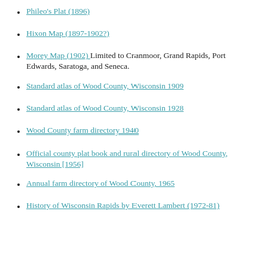Phileo's Plat (1896)
Hixon Map (1897-1902?)
Morey Map (1902) Limited to Cranmoor, Grand Rapids, Port Edwards, Saratoga, and Seneca.
Standard atlas of Wood County, Wisconsin 1909
Standard atlas of Wood County, Wisconsin 1928
Wood County farm directory 1940
Official county plat book and rural directory of Wood County, Wisconsin [1956]
Annual farm directory of Wood County, 1965
History of Wisconsin Rapids by Everett Lambert (1972-81)